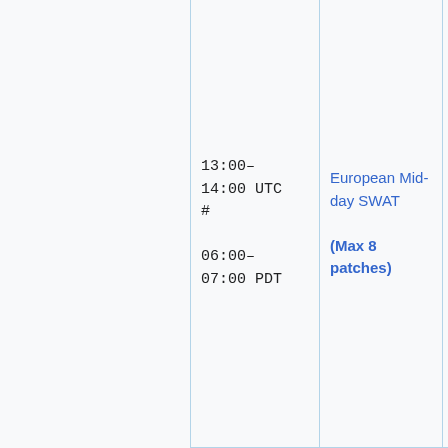|  | Time | Event | Deployers |
| --- | --- | --- | --- |
|  | 13:00–14:00 UTC
#
06:00–07:00 PDT | European Mid-day SWAT
(Max 8 patches) | addshore, Ant(hashar), Brad(anomie), Cha(RainbowSpri Katie (aude), M(MaxSem), Muk(twentyafter Roan (RoanKa Sébastien (Dereckson), (thcipriani) |